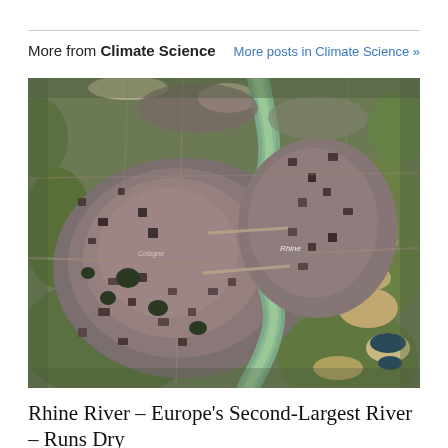More from Climate Science
More posts in Climate Science »
[Figure (photo): Satellite aerial view of a large European city with a winding river (Rhine) running through it, surrounded by urban development, roads, and green areas. The city appears to be Cologne/Köln, Germany, viewed from above at an angle.]
Rhine River – Europe's Second-Largest River – Runs Dry